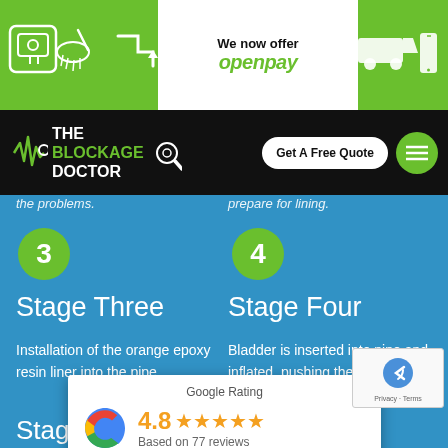[Figure (screenshot): Green top navigation bar with service icons on left, 'We now offer openpay' center panel in white, delivery and phone icons on right]
[Figure (logo): The Blockage Doctor logo with waveform graphic on black navigation bar, with 'Get A Free Quote' button and green hamburger menu]
the problems.
prepare for lining.
3
4
Stage Three
Stage Four
Installation of the orange epoxy resin liner into the pipe.
Bladder is inserted into pipe and inflated, pushing the liner against the old pipe wall while resin sets.
[Figure (infographic): Google Rating popup showing 4.8 stars based on 77 reviews with Google G logo]
Stage Five